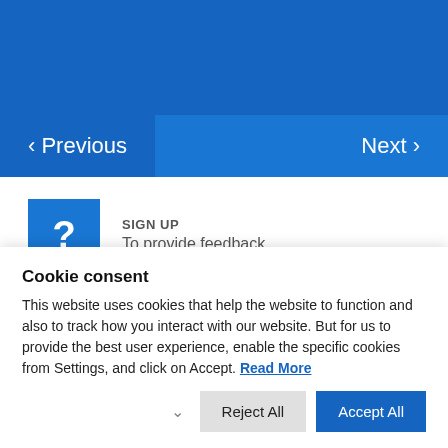‹ Previous    Next ›
? SIGN UP To provide feedback
User Research
Cookie consent
This website uses cookies that help the website to function and also to track how you interact with our website. But for us to provide the best user experience, enable the specific cookies from Settings, and click on Accept. Read More
Reject All   Accept All